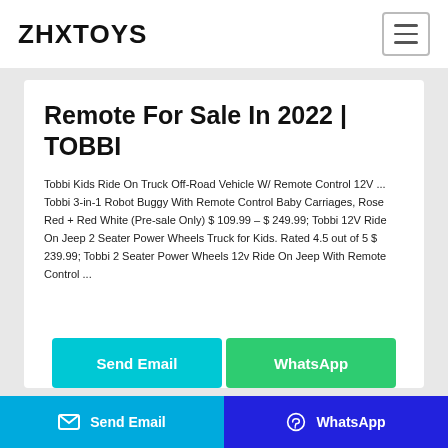ZHXTOYS
Remote For Sale In 2022 | TOBBI
Tobbi Kids Ride On Truck Off-Road Vehicle W/ Remote Control 12V ... Tobbi 3-in-1 Robot Buggy With Remote Control Baby Carriages, Rose Red + Red White (Pre-sale Only) $ 109.99 – $ 249.99; Tobbi 12V Ride On Jeep 2 Seater Power Wheels Truck for Kids. Rated 4.5 out of 5 $ 239.99; Tobbi 2 Seater Power Wheels 12v Ride On Jeep With Remote Control ...
Send Email
WhatsApp
Send Email | WhatsApp